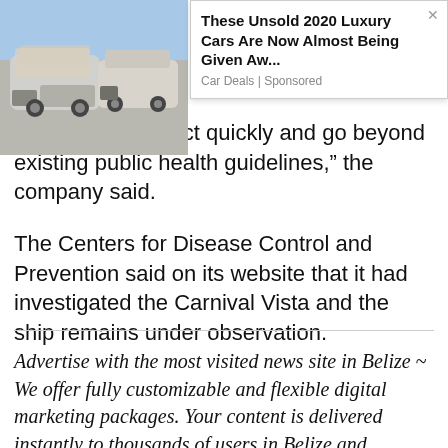[Figure (screenshot): Advertisement overlay showing luxury cars with title 'These Unsold 2020 Luxury Cars Are Now Almost Being Given Aw...' and source 'Car Deals | Sponsored']
not hesitated to act quickly and go beyond existing public health guidelines," the company said.
The Centers for Disease Control and Prevention said on its website that it had investigated the Carnival Vista and the ship remains under observation.
Advertise with the most visited news site in Belize ~ We offer fully customizable and flexible digital marketing packages. Your content is delivered instantly to thousands of users in Belize and abroad! Contact us at